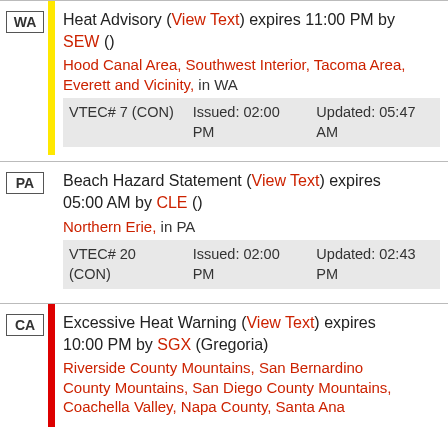WA | Heat Advisory (View Text) expires 11:00 PM by SEW () Hood Canal Area, Southwest Interior, Tacoma Area, Everett and Vicinity, in WA VTEC# 7 (CON) Issued: 02:00 PM Updated: 05:47 AM
PA | Beach Hazard Statement (View Text) expires 05:00 AM by CLE () Northern Erie, in PA VTEC# 20 (CON) Issued: 02:00 PM Updated: 02:43 PM
CA | Excessive Heat Warning (View Text) expires 10:00 PM by SGX (Gregoria) Riverside County Mountains, San Bernardino County Mountains, San Diego County Mountains, Coachella Valley, Napa County, Santa Ana